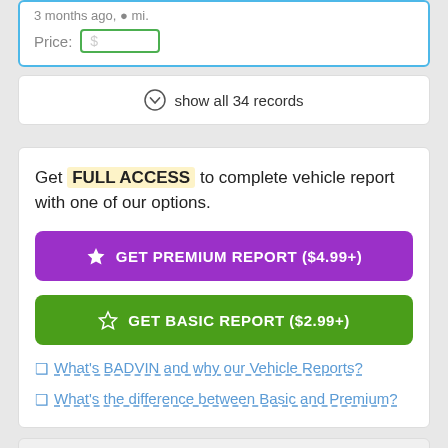Price: $
show all 34 records
Get FULL ACCESS to complete vehicle report with one of our options.
GET PREMIUM REPORT ($4.99+)
GET BASIC REPORT ($2.99+)
What's BADVIN and why our Vehicle Reports?
What's the difference between Basic and Premium?